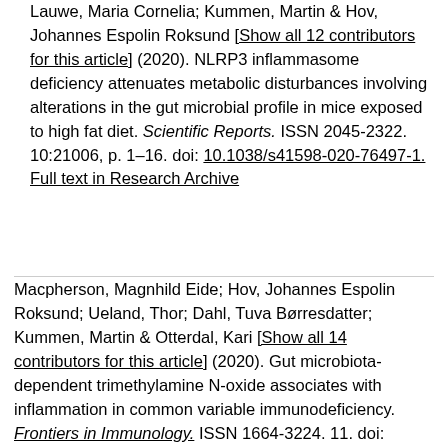Lauwe, Maria Cornelia; Kummen, Martin & Hov, Johannes Espolin Roksund [Show all 12 contributors for this article] (2020). NLRP3 inflammasome deficiency attenuates metabolic disturbances involving alterations in the gut microbial profile in mice exposed to high fat diet. Scientific Reports. ISSN 2045-2322. 10:21006, p. 1–16. doi: 10.1038/s41598-020-76497-1. Full text in Research Archive
Macpherson, Magnhild Eide; Hov, Johannes Espolin Roksund; Ueland, Thor; Dahl, Tuva Børresdatter; Kummen, Martin & Otterdal, Kari [Show all 14 contributors for this article] (2020). Gut microbiota-dependent trimethylamine N-oxide associates with inflammation in common variable immunodeficiency. Frontiers in Immunology. ISSN 1664-3224. 11. doi: 10.3389/fimmu.2020.574500. Full